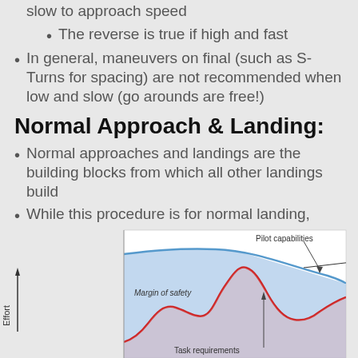slow to approach speed
The reverse is true if high and fast
In general, maneuvers on final (such as S-Turns for spacing) are not recommended when low and slow (go arounds are free!)
Normal Approach & Landing:
Normal approaches and landings are the building blocks from which all other landings build
While this procedure is for normal landing, assuming the wind is blowing right down the runway, that will almost never be the case
[Figure (continuous-plot): A chart showing Effort (y-axis) over time with two curves: a blue 'Pilot capabilities' curve that gradually decreases, and a red 'Task requirements' curve that undulates with two peaks. The shaded blue area between them represents 'Margin of safety'.]